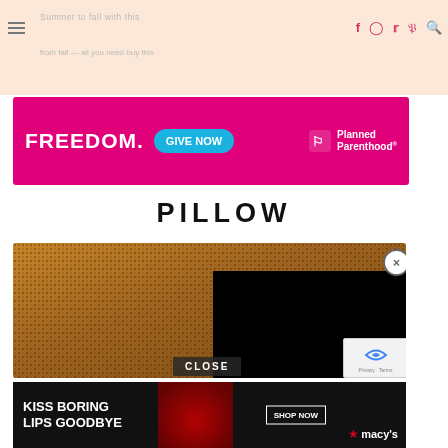Summer to fall with this / PILLOW
[Figure (other): Planned Parenthood advertisement banner: FREEDOM. GIVE NOW with teal button and Planned Parenthood logo on magenta/pink background]
PILLOW
[Figure (photo): A textured brown boucle/shearling square pillow on a light gray background, with a black overlay rectangle partially covering the right side]
[Figure (other): Macy's advertisement: KISS BORING LIPS GOODBYE with SHOP NOW button, showing a model with red lips on dark background with Macy's star logo]